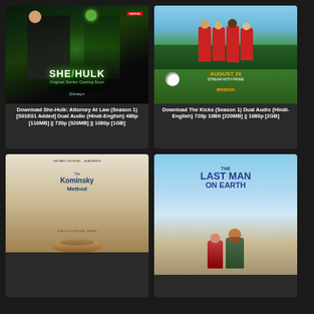[Figure (photo): She-Hulk: Attorney At Law promotional poster with dark green mystical background and figures in suits]
Download She-Hulk: Attorney At Law (Season 1) [S01E01 Added] Dual Audio {Hindi-English} 480p [110MB] || 720p [320MB] || 1080p [1GB]
[Figure (photo): The Kicks (Season 1) Amazon Prime promotional poster with girls soccer team on green grass field, August 26 release date]
Download The Kicks (Season 1) Dual Audio {Hindi-English} 720p 10Bit [220MB] || 1080p [2GB]
[Figure (photo): The Kominsky Method Netflix original series poster with light beige/tan background and blue text]
[Figure (photo): The Last Man on Earth promotional poster with blue sky background and two characters standing together]